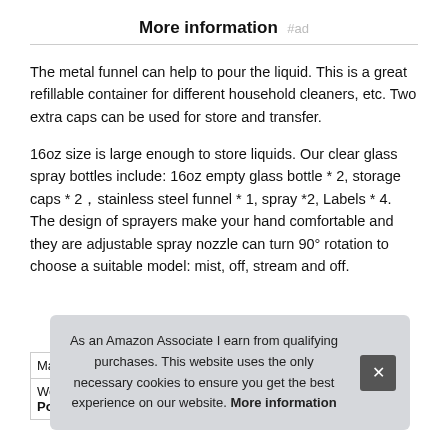More information #ad
The metal funnel can help to pour the liquid. This is a great refillable container for different household cleaners, etc. Two extra caps can be used for store and transfer.
16oz size is large enough to store liquids. Our clear glass spray bottles include: 16oz empty glass bottle * 2, storage caps * 2，stainless steel funnel * 1, spray *2, Labels * 4. The design of sprayers make your hand comfortable and they are adjustable spray nozzle can turn 90° rotation to choose a suitable model: mist, off, stream and off.
| Ma… |
| Weight | 1 Pounds |
As an Amazon Associate I earn from qualifying purchases. This website uses the only necessary cookies to ensure you get the best experience on our website. More information